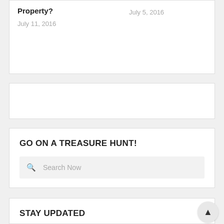Property?
July 11, 2016
July 5, 2016
GO ON A TREASURE HUNT!
Search Now
STAY UPDATED
[Figure (other): Social media icon buttons: Facebook (f), Twitter (bird), Google+ (g+), LinkedIn (in)]